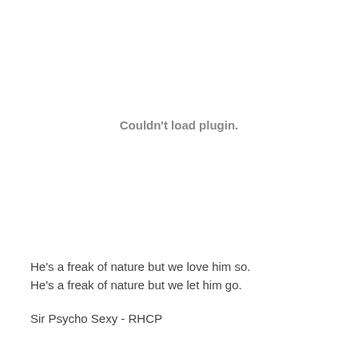Couldn't load plugin.
He's a freak of nature but we love him so.
He's a freak of nature but we let him go.
Sir Psycho Sexy - RHCP